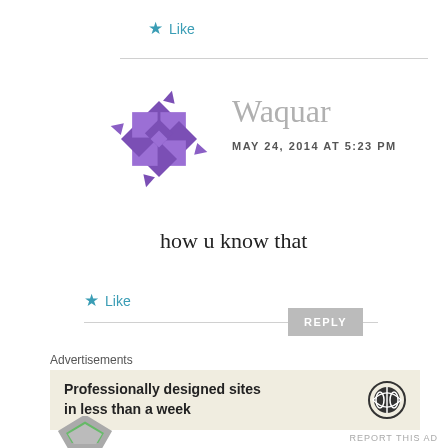★ Like
[Figure (illustration): Purple geometric star/pinwheel avatar icon for user Waquar]
Waquar
MAY 24, 2014 AT 5:23 PM
how u know that
★ Like
REPLY
Advertisements
Professionally designed sites in less than a week
[Figure (logo): WordPress circular logo in dark color]
REPORT THIS AD
[Figure (illustration): Partial green/silver geometric avatar at bottom]